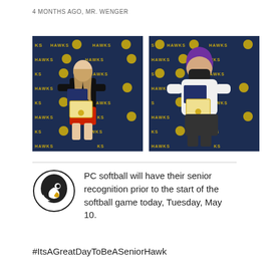4 MONTHS AGO, MR. WENGER
[Figure (photo): Two photos side by side of students standing in front of a Hawks banner backdrop, each holding a certificate/folder. Left photo: a girl in black top and red shorts. Right photo: a girl in white top with a mask, purple hair.]
[Figure (logo): PC Hawks bird logo - circular black and white hawk/falcon head illustration]
PC softball will have their senior recognition prior to the start of the softball game today, Tuesday, May 10.
#ItsAGreatDayToBeASeniorHawk